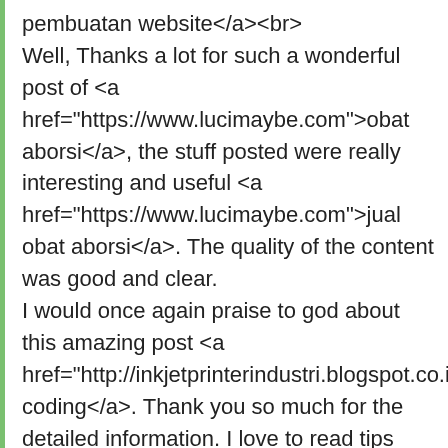pembuatan website</a><br> Well, Thanks a lot for such a wonderful post of <a href="https://www.lucimaybe.com">obat aborsi</a>, the stuff posted were really interesting and useful <a href="https://www.lucimaybe.com">jual obat aborsi</a>. The quality of the content was good and clear. I would once again praise to god about this amazing post <a href="http://inkjetprinterindustri.blogspot.co.id/">mesin coding</a>. Thank you so much for the detailed information. I love to read tips from people who are really successful with what they do <a href="http://inkjetprinterindustri.blogspot.co.id/">inkjet printer industri</a>. It inspires me an I learn a lot witch helps me to grow my business faster